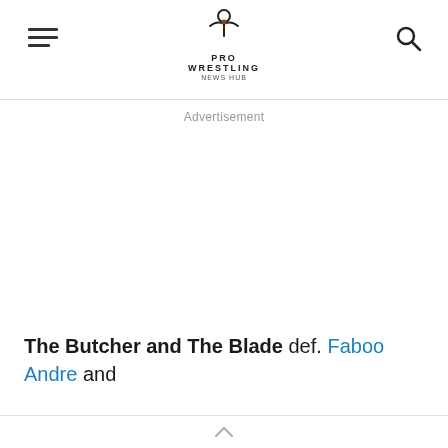Pro Wrestling News Hub
Advertisement
The Butcher and The Blade def. Faboo Andre and